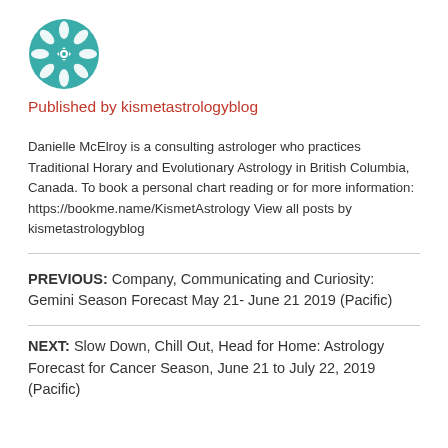[Figure (logo): Circular teal logo with white geometric/floral pattern, kismetastrologyblog]
Published by kismetastrologyblog
Danielle McElroy is a consulting astrologer who practices Traditional Horary and Evolutionary Astrology in British Columbia, Canada. To book a personal chart reading or for more information: https://bookme.name/KismetAstrology View all posts by kismetastrologyblog
PREVIOUS: Company, Communicating and Curiosity: Gemini Season Forecast May 21- June 21 2019 (Pacific)
NEXT: Slow Down, Chill Out, Head for Home: Astrology Forecast for Cancer Season, June 21 to July 22, 2019 (Pacific)